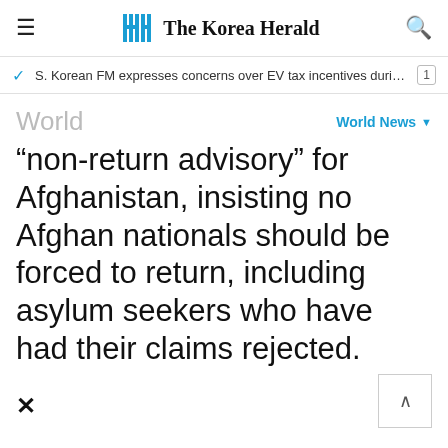The Korea Herald
S. Korean FM expresses concerns over EV tax incentives during c…
World
World News
“non-return advisory” for Afghanistan, insisting no Afghan nationals should be forced to return, including asylum seekers who have had their claims rejected.